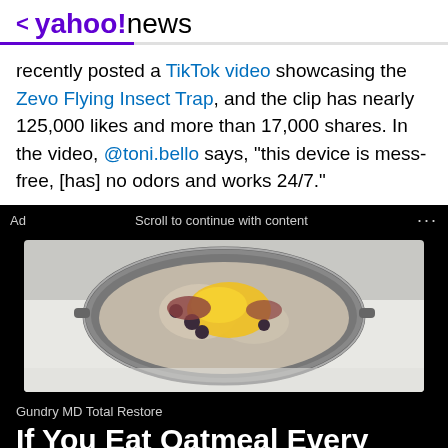< yahoo!news
recently posted a TikTok video showcasing the Zevo Flying Insect Trap, and the clip has nearly 125,000 likes and more than 17,000 shares. In the video, @toni.bello says, "this device is mess-free, [has] no odors and works 24/7."
[Figure (photo): Ad banner showing a pot of oatmeal cooking on a stove with melted cheese on top, food advertisement image]
Gundry MD Total Restore
If You Eat Oatmeal Every Day, This Is What